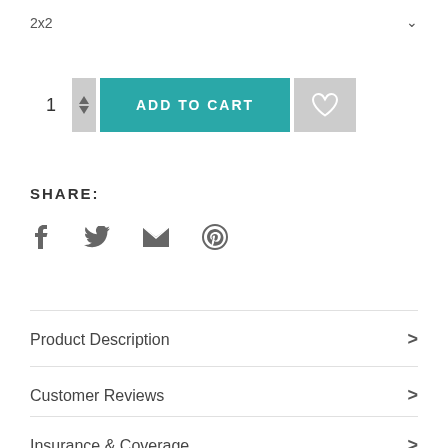2x2
[Figure (screenshot): E-commerce product page UI snippet showing a quantity selector with up/down arrows, a teal ADD TO CART button, and a heart/wishlist button in gray.]
SHARE:
[Figure (infographic): Social share icons: Facebook (f), Twitter (bird), Email (envelope), Pinterest (P circle)]
Product Description
Customer Reviews
Insurance & Coverage